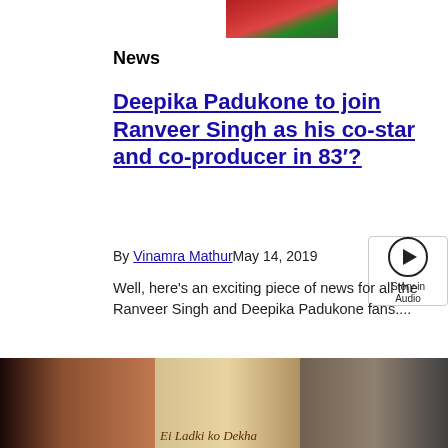[Figure (photo): Partial photo of a person in colorful red/green clothing, cropped at top]
News
Deepika Padukone to join Ranveer Singh as his co-star and co-producer in 83′?
By Vinamra Mathur May 14, 2019
[Figure (other): Story in Audio play button widget]
Well, here's an exciting piece of news for all the Ranveer Singh and Deepika Padukone fans....
[Figure (photo): Collage of three celebrity photos: actress on left, movie poster 'Ek Ladki Ko Dekha' in center, actor on right]